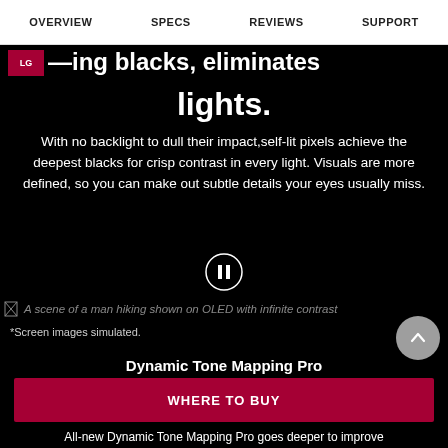OVERVIEW  SPECS  REVIEWS  SUPPORT
lights.
With no backlight to dull their impact,self-lit pixels achieve the deepest blacks for crisp contrast in every light. Visuals are more defined, so you can make out subtle details your eyes usually miss.
[Figure (illustration): Pause button circle icon]
[Figure (photo): A scene of a man hiking shown on OLED with infinite contrast]
*Screen images simulated.
Dynamic Tone Mapping Pro
WHERE TO BUY
All-new Dynamic Tone Mapping Pro goes deeper to improve